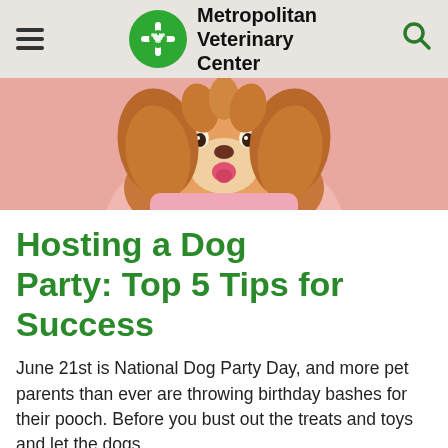Metropolitan Veterinary Center
[Figure (photo): A Cavalier King Charles Spaniel dog with golden-brown fur wearing a pink outfit, photographed against a pink background, shown from roughly chest up with tongue slightly out.]
Hosting a Dog Party: Top 5 Tips for Success
June 21st is National Dog Party Day, and more pet parents than ever are throwing birthday bashes for their pooch. Before you bust out the treats and toys and let the dogs